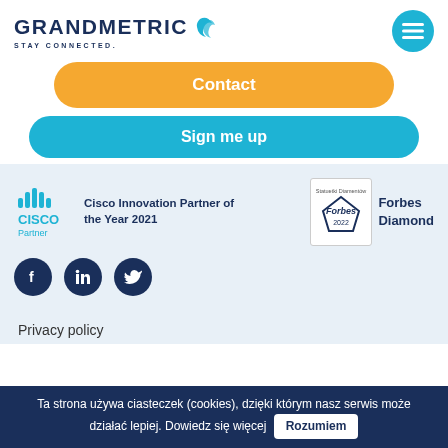[Figure (logo): Grandmetric logo with text GRANDMETRIC and tagline STAY CONNECTED. with blue double-arrow icon]
Contact
Sign me up
[Figure (logo): Cisco Partner logo with bar chart icon]
Cisco Innovation Partner of the Year 2021
[Figure (logo): Forbes Diamond 2022 badge]
Forbes Diamond
[Figure (illustration): Social media icons: Facebook, LinkedIn, Twitter (dark navy circles)]
Privacy policy
Ta strona używa ciasteczek (cookies), dzięki którym nasz serwis może działać lepiej. Dowiedz się więcej Rozumiem